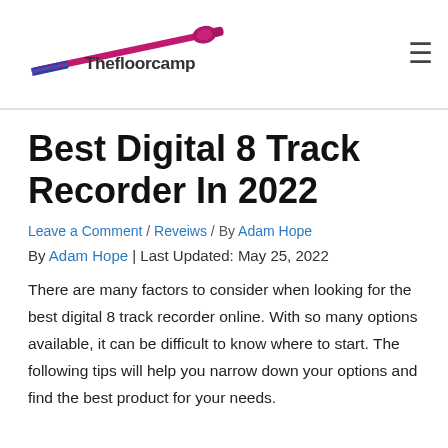[Figure (logo): Thefloorcamp logo with a golf club/tool graphic in pink and blue stripes and the text 'Thefloorcamp']
Best Digital 8 Track Recorder In 2022
Leave a Comment / Reveiws / By Adam Hope
By Adam Hope | Last Updated: May 25, 2022
There are many factors to consider when looking for the best digital 8 track recorder online. With so many options available, it can be difficult to know where to start. The following tips will help you narrow down your options and find the best product for your needs.